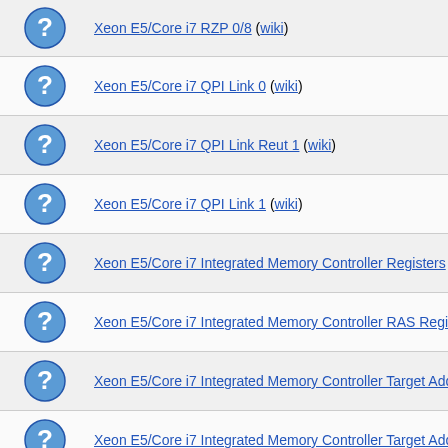Xeon E5/Core i7 QPI Link 0 (wiki)
Xeon E5/Core i7 QPI Link Reut 1 (wiki)
Xeon E5/Core i7 QPI Link 1 (wiki)
Xeon E5/Core i7 Integrated Memory Controller Registers (wiki)
Xeon E5/Core i7 Integrated Memory Controller RAS Registers (wi...
Xeon E5/Core i7 Integrated Memory Controller Target Address De...
Xeon E5/Core i7 Integrated Memory Controller Target Address De...
Xeon E5/Core i7 Integrated Memory Controller Target Address De...
Xeon E5/Core i7 Integrated Memory Controller Target Address De...
Xeon E5/Core i7 Integrated Memory Controller Target Address De...
Xeon E5/Core i7 Power Control Unit 3 (wiki)
Xeon E5/Core i7 Integrated Memory Controller Channel 0-3 Ther...
Xeon E5/Core i7 Integrated Memory Controller Channel 0-3 Ther...
Xeon E5/Core i7 Integrated Memory Controller ERROR Registers